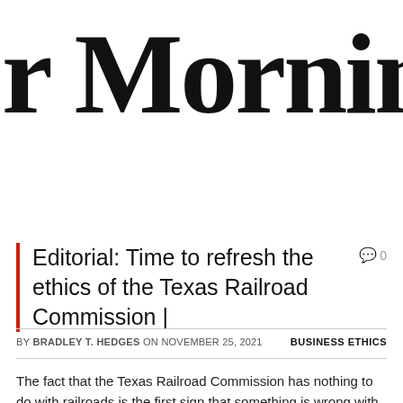r Morning Teleg
Editorial: Time to refresh the ethics of the Texas Railroad Commission |
BY BRADLEY T. HEDGES ON NOVEMBER 25, 2021   BUSINESS ETHICS
The fact that the Texas Railroad Commission has nothing to do with railroads is the first sign that something is wrong with the 130-year